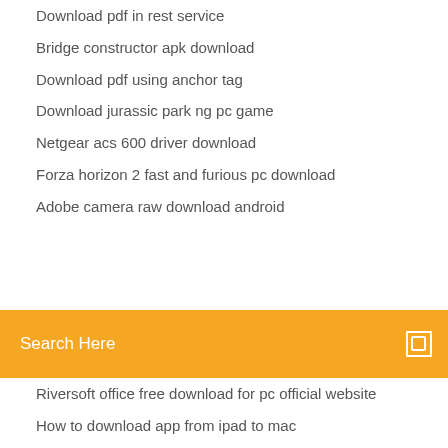Download pdf in rest service
Bridge constructor apk download
Download pdf using anchor tag
Download jurassic park ng pc game
Netgear acs 600 driver download
Forza horizon 2 fast and furious pc download
Adobe camera raw download android
[Figure (screenshot): Orange search bar with text 'Search Here' and a search icon on the right]
Riversoft office free download for pc official website
How to download app from ipad to mac
Download smart life app fir alexa
Downloading all of my strava files in tcx
Google drive web app download
Download headphone audio driver
Download gskill mouse drivers
Need to re download wag app
Directvnow for pc download
Acca f1 bpp study text pdf free download